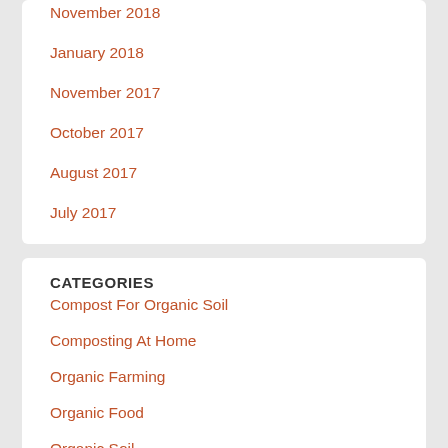November 2018
January 2018
November 2017
October 2017
August 2017
July 2017
CATEGORIES
Compost For Organic Soil
Composting At Home
Organic Farming
Organic Food
Organic Soil
Segregating Waste